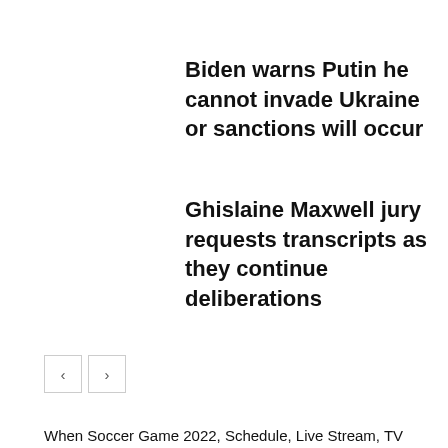Biden warns Putin he cannot invade Ukraine or sanctions will occur
Ghislaine Maxwell jury requests transcripts as they continue deliberations
< >
When Soccer Game 2022, Schedule, Live Stream, TV Channel Info
Watch NFL Football 2022, Start time, Schedule, Live Stream, TV Channel Info
College Football 2022, Start time, Schedule, Live Stream, TV Channel Info